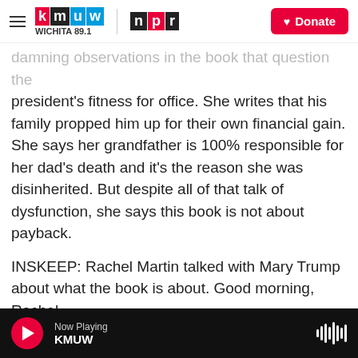[Figure (screenshot): KMUW Wichita 89.1 and NPR logos on the left, Donate button on the right — website header navigation bar]
damning observations in the book that question the president's fitness for office. She writes that his family propped him up for their own financial gain. She says her grandfather is 100% responsible for her dad's death and it's the reason she was disinherited. But despite all of that talk of dysfunction, she says this book is not about payback.
INSKEEP: Rachel Martin talked with Mary Trump about what the book is about. Good morning, Rachel.
[Figure (screenshot): Audio player bar at the bottom: red play button, 'Now Playing' label with 'KMUW' text, and waveform/audio icon on the right, on black background]